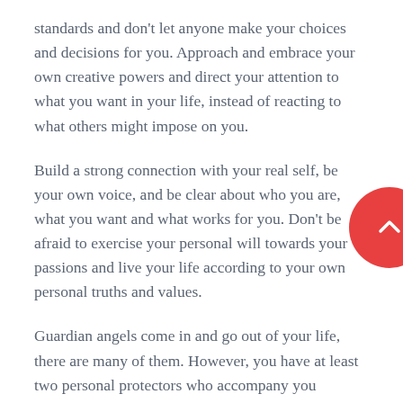standards and don't let anyone make your choices and decisions for you. Approach and embrace your own creative powers and direct your attention to what you want in your life, instead of reacting to what others might impose on you.
Build a strong connection with your real self, be your own voice, and be clear about who you are, what you want and what works for you. Don't be afraid to exercise your personal will towards your passions and live your life according to your own personal truths and values.
Guardian angels come in and go out of your life, there are many of them. However, you have at least two personal protectors who accompany you throughout your life, always in search of your well-being.